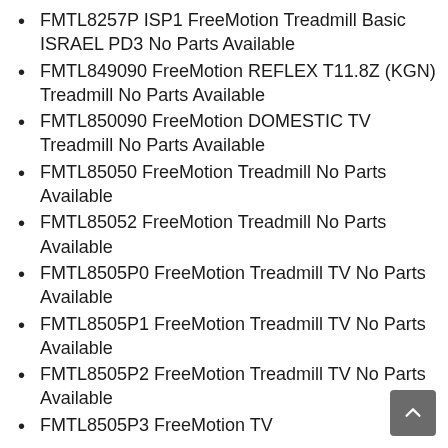FMTL8257P ISP1 FreeMotion Treadmill Basic ISRAEL PD3 No Parts Available
FMTL849090 FreeMotion REFLEX T11.8Z (KGN) Treadmill No Parts Available
FMTL850090 FreeMotion DOMESTIC TV Treadmill No Parts Available
FMTL85050 FreeMotion Treadmill No Parts Available
FMTL85052 FreeMotion Treadmill No Parts Available
FMTL8505P0 FreeMotion Treadmill TV No Parts Available
FMTL8505P1 FreeMotion Treadmill TV No Parts Available
FMTL8505P2 FreeMotion Treadmill TV No Parts Available
FMTL8505P3 FreeMotion TV